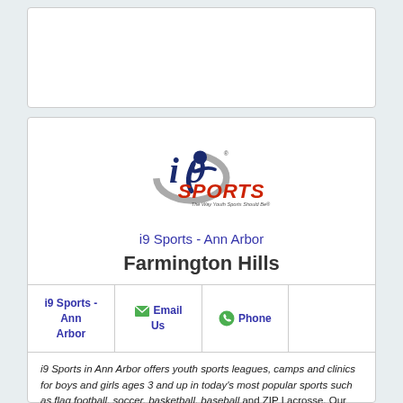[Figure (logo): i9 Sports logo with stylized 'i9 SPORTS' text and tagline 'The Way Youth Sports Should Be']
i9 Sports - Ann Arbor
Farmington Hills
| i9 Sports - Ann Arbor | Email Us | Phone |  |
| --- | --- | --- | --- |
i9 Sports in Ann Arbor offers youth sports leagues, camps and clinics for boys and girls ages 3 and up in today's most popular sports such as flag football, soccer, basketball, baseball and ZIP Lacrosse. Our age appropriate curriculum allows your child to learn the sport, develop skills, and most of all have fun! In all of our programs we teach sportsmanship so that kids can learn to give them and that skills that will help them